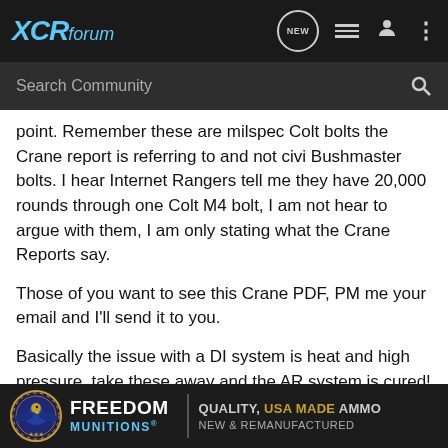XCRforum
point. Remember these are milspec Colt bolts the Crane report is referring to and not civi Bushmaster bolts. I hear Internet Rangers tell me they have 20,000 rounds through one Colt M4 bolt, I am not hear to argue with them, I am only stating what the Crane Reports say.
Those of you want to see this Crane PDF, PM me your email and I'll send it to you.
Basically the issue with a DI system is heat and high pressure, take these away and the AR system is cured! I hear from the internet, LWRC, HK, and POF that these Colt AR/M4 bolts will last a lot longer in a Piston AR (such as LWRC or POF), because...e high pressure...ugh this
[Figure (other): Freedom Munitions advertisement banner: logo with eagle emblem, text FREEDOM MUNITIONS, tagline QUALITY, USA MADE AMMO, NEW & REMANUFACTURED]